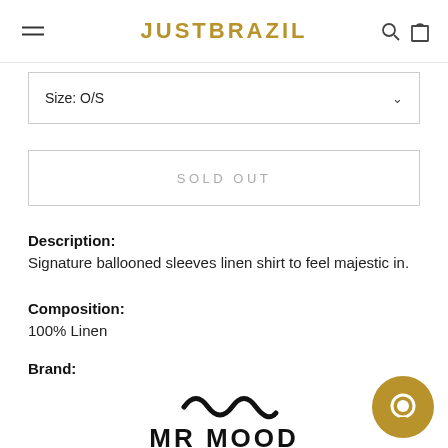JUSTBRAZIL
Size: O/S
SOLD OUT
Description:
Signature ballooned sleeves linen shirt to feel majestic in.
Composition:
100% Linen
Brand:
[Figure (logo): MR MOOD brand logo with stylized wave mark above text]